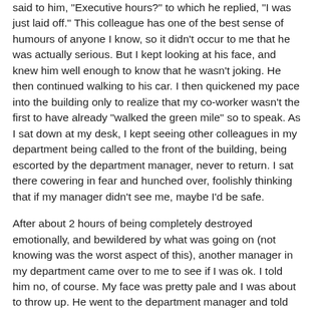said to him, "Executive hours?" to which he replied, "I was just laid off." This colleague has one of the best sense of humours of anyone I know, so it didn't occur to me that he was actually serious. But I kept looking at his face, and knew him well enough to know that he wasn't joking. He then continued walking to his car. I then quickened my pace into the building only to realize that my co-worker wasn't the first to have already "walked the green mile" so to speak. As I sat down at my desk, I kept seeing other colleagues in my department being called to the front of the building, being escorted by the department manager, never to return. I sat there cowering in fear and hunched over, foolishly thinking that if my manager didn't see me, maybe I'd be safe.
After about 2 hours of being completely destroyed emotionally, and bewildered by what was going on (not knowing was the worst aspect of this), another manager in my department came over to me to see if I was ok. I told him no, of course. My face was pretty pale and I was about to throw up. He went to the department manager and told him that he'd better clue me in on what was going on for fear that I'd collapse. By that time, the layoffs had ended and the